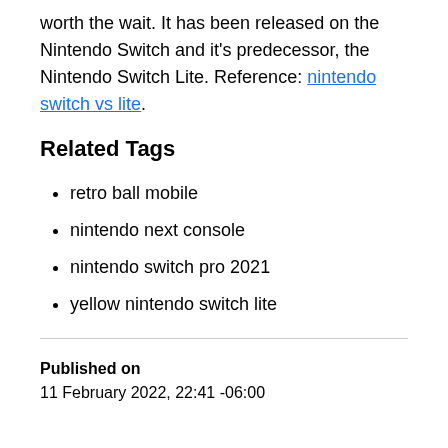worth the wait. It has been released on the Nintendo Switch and it's predecessor, the Nintendo Switch Lite. Reference: nintendo switch vs lite.
Related Tags
retro ball mobile
nintendo next console
nintendo switch pro 2021
yellow nintendo switch lite
Published on
11 February 2022, 22:41 -06:00